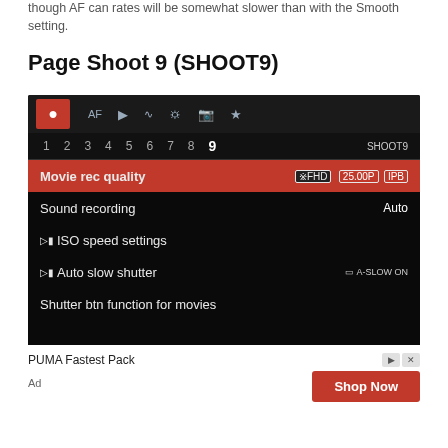though AF can rates will be somewhat slower than with the Smooth setting.
Page Shoot 9 (SHOOT9)
[Figure (screenshot): Canon camera menu screen showing Shoot 9 (SHOOT9) page with options: Movie rec quality (FHD 25.00P IPB), Sound recording (Auto), ISO speed settings, Auto slow shutter (A-SLOW ON), Shutter btn function for movies]
[Figure (other): Advertisement banner: PUMA Fastest Pack with Shop Now button]